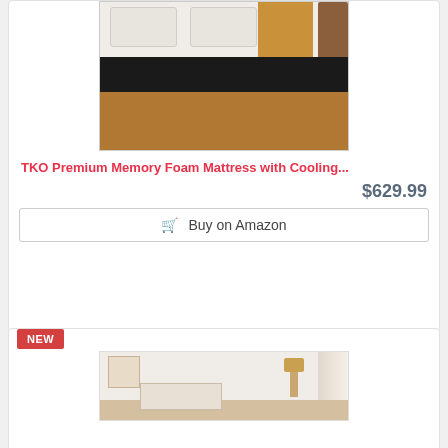[Figure (photo): TKO Premium Memory Foam Mattress product photo on a wooden bed frame with pillows]
TKO Premium Memory Foam Mattress with Cooling...
$629.99
Buy on Amazon
NEW
[Figure (photo): Bedroom scene with warm lighting, art on wall, pendant lamp, and bed]